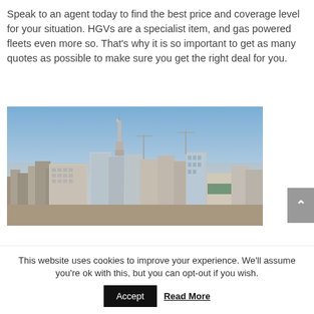Speak to an agent today to find the best price and coverage level for your situation. HGVs are a specialist item, and gas powered fleets even more so. That's why it is so important to get as many quotes as possible to make sure you get the right deal for you.
[Figure (photo): Aerial panoramic view of a city skyline showing tall buildings, a prominent communications tower, construction cranes, and urban architecture under a clear blue sky.]
This website uses cookies to improve your experience. We'll assume you're ok with this, but you can opt-out if you wish.
Accept    Read More